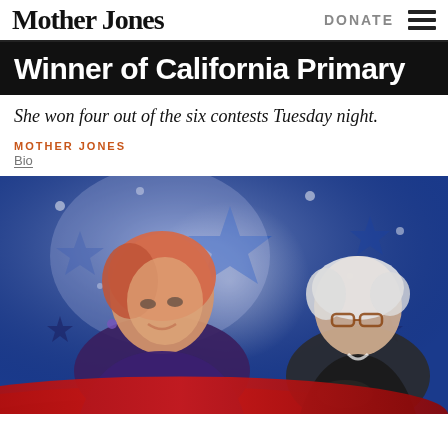Mother Jones | DONATE
Winner of California Primary
She won four out of the six contests Tuesday night.
MOTHER JONES
Bio
[Figure (photo): Photo of Hillary Clinton on the left smiling, and Bernie Sanders on the right, both against a patriotic blue star-filled background with a red swoosh at bottom.]